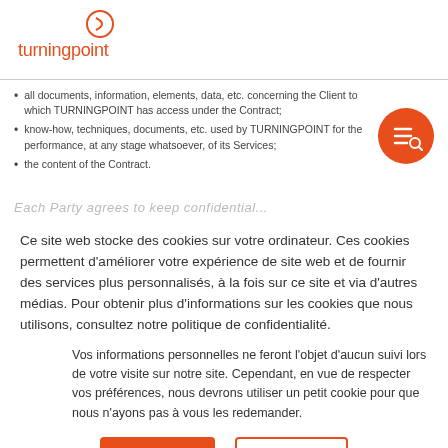[Figure (logo): turningpoint logo with orange circle icon and lowercase text]
all documents, information, elements, data, etc. concerning the Client to which TURNINGPOINT has access under the Contract;
know-how, techniques, documents, etc. used by TURNINGPOINT for the performance, at any stage whatsoever, of its Services;
the content of the Contract.
Ce site web stocke des cookies sur votre ordinateur. Ces cookies permettent d'améliorer votre expérience de site web et de fournir des services plus personnalisés, à la fois sur ce site et via d'autres médias. Pour obtenir plus d'informations sur les cookies que nous utilisons, consultez notre politique de confidentialité.
Vos informations personnelles ne feront l'objet d'aucun suivi lors de votre visite sur notre site. Cependant, en vue de respecter vos préférences, nous devrons utiliser un petit cookie pour que nous n'ayons pas à vous les redemander.